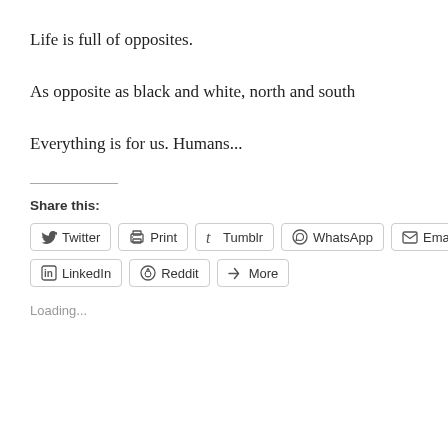Life is full of opposites.
As opposite as black and white, north and south
Everything is for us. Humans...
Share this:
Loading...